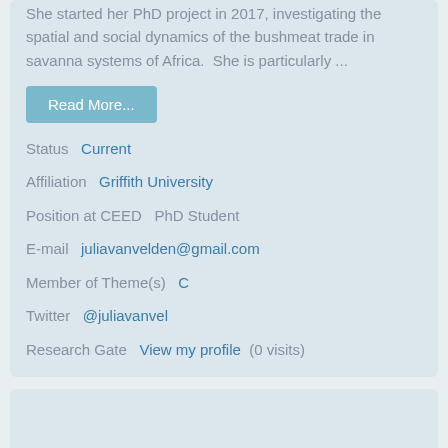She started her PhD project in 2017, investigating the spatial and social dynamics of the bushmeat trade in savanna systems of Africa.  She is particularly ...
Read More...
Status  Current
Affiliation  Griffith University
Position at CEED  PhD Student
E-mail  juliavanvelden@gmail.com
Member of Theme(s)  C
Twitter  @juliavanvel
Research Gate  View my profile  (0 visits)